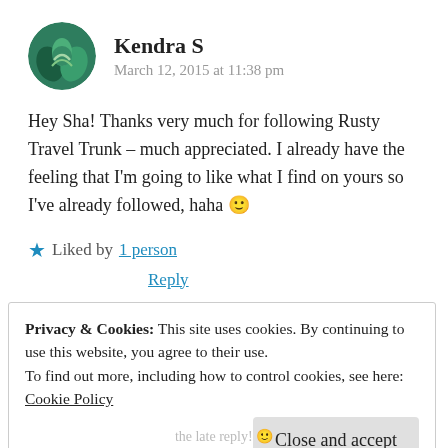[Figure (illustration): Circular avatar with green/teal nature-themed image (leaves/hands)]
Kendra S
March 12, 2015 at 11:38 pm
Hey Sha! Thanks very much for following Rusty Travel Trunk – much appreciated. I already have the feeling that I'm going to like what I find on yours so I've already followed, haha 🙂
★ Liked by 1 person
Reply
Privacy & Cookies: This site uses cookies. By continuing to use this website, you agree to their use.
To find out more, including how to control cookies, see here:
Cookie Policy
Close and accept
the late reply! 😊